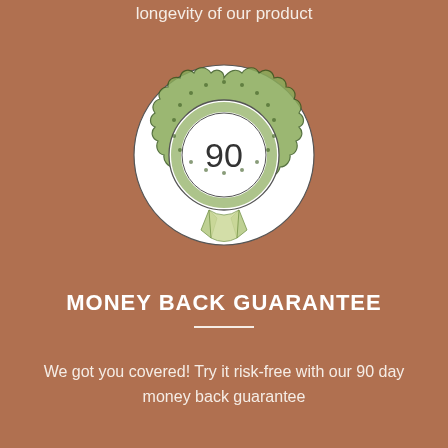longevity of our product
[Figure (illustration): A circular badge/medal illustration with a green scalloped border and ribbons, containing the number '90' in the center, on a white circular background.]
MONEY BACK GUARANTEE
We got you covered! Try it risk-free with our 90 day money back guarantee